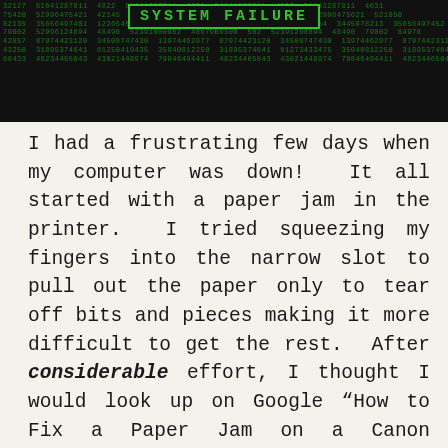[Figure (screenshot): Dark background matrix-style image with green scrolling numbers/code and a green-bordered box with 'SYSTEM FAILURE' text in the center top area]
I had a frustrating few days when my computer was down!  It all started with a paper jam in the printer.  I tried squeezing my fingers into the narrow slot to pull out the paper only to tear off bits and pieces making it more difficult to get the rest.  After considerable effort, I thought I would look up on Google “How to Fix a Paper Jam on a Canon Printer”.  There are quite a few searches to choose from and I did find one that was helpful.  I turned the printer